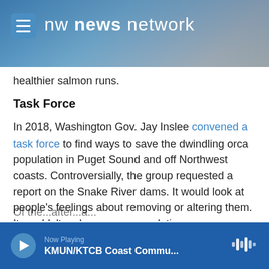[Figure (screenshot): NW News Network website header with mountain background and hamburger menu icon]
healthier salmon runs.
Task Force
In 2018, Washington Gov. Jay Inslee convened a task force to find ways to save the dwindling orca population in Puget Sound and off Northwest coasts. Controversially, the group requested a report on the Snake River dams. It would look at people's feelings about removing or altering them. It wouldn't make a recommendation one way or the other.
Of the...
Now Playing — KMUN/KTCB Coast Commu...